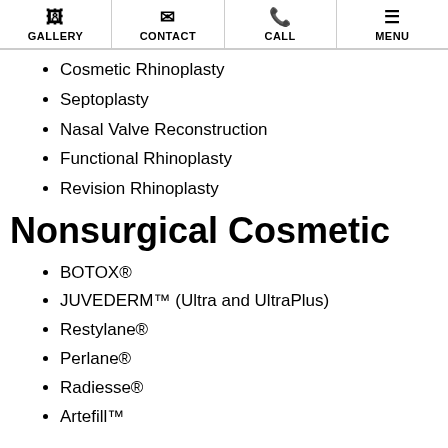GALLERY | CONTACT | CALL | MENU
Cosmetic Rhinoplasty
Septoplasty
Nasal Valve Reconstruction
Functional Rhinoplasty
Revision Rhinoplasty
Nonsurgical Cosmetic
BOTOX®
JUVEDERM™ (Ultra and UltraPlus)
Restylane®
Perlane®
Radiesse®
Artefill™